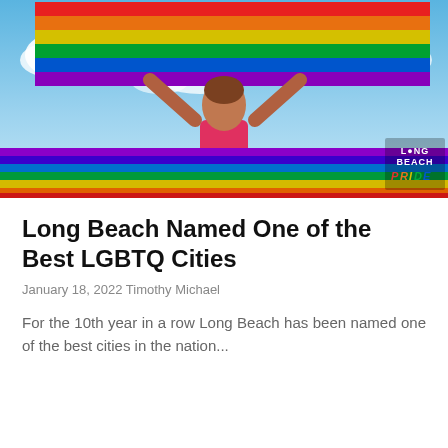[Figure (photo): A woman in a red top raising her arms holding a large rainbow pride flag above her head against a blue sky with clouds. In the bottom right corner is a Long Beach Pride logo. The bottom of the image shows the colorful stripes of a large rainbow pride flag laid across the lower portion of the frame.]
Long Beach Named One of the Best LGBTQ Cities
January 18, 2022 Timothy Michael
For the 10th year in a row Long Beach has been named one of the best cities in the nation...